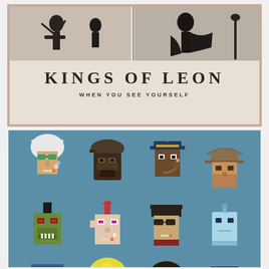[Figure (illustration): Kings of Leon 'When You See Yourself' album cover — beige/cream background with two black-and-white silhouette photos of band members at top, band name 'KINGS OF LEON' in large serif letters, subtitle 'WHEN YOU SEE YOURSELF' in smaller caps below]
[Figure (illustration): CryptoPunks NFT collection image — teal/steel-blue background showing 12 pixel-art character avatars arranged in a 4x3 grid, various punk styles including mohawks, hats, sunglasses, zombie, ape, alien characters]